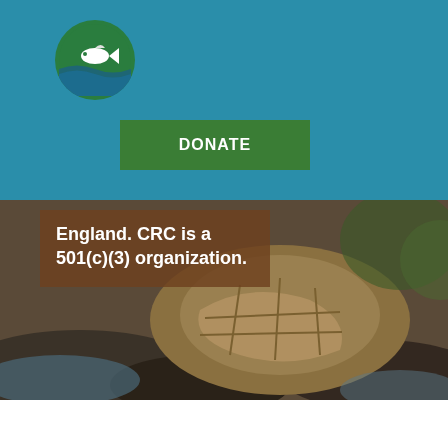[Figure (logo): Connecticut River Conservancy circular logo with fish and wave design on green background]
DONATE
[Figure (photo): Close-up photograph of a turtle on rocks, blurred background]
England. CRC is a 501(c)(3) organization.
Copyright 2015-2020 Connecticut River Conservancy | All Rights Reserved | Website by MRW
15 Bank Row, Greenfield, MA 01301 | 413.772.2020 | info@ctriver.org